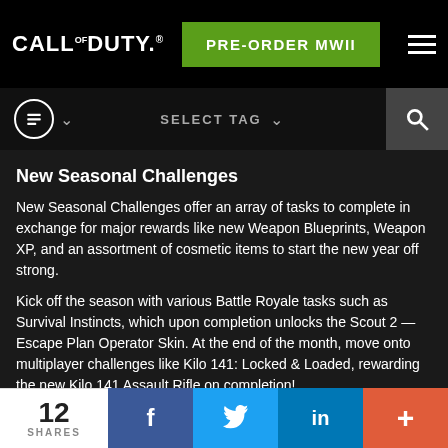CALL OF DUTY® | PRE-ORDER MWII
New Seasonal Challenges
New Seasonal Challenges offer an array of tasks to complete in exchange for major rewards like new Weapon Blueprints, Weapon XP, and an assortment of cosmetic items to start the new year off strong.
Kick off the season with various Battle Royale tasks such as Survival Instincts, which upon completion unlocks the Scout 2 — Escape Plan Operator Skin. At the end of the month, move onto multiplayer challenges like Kilo 141: Locked & Loaded, rewarding the new Kilo 141 Assault Rifle on completion!
12 SHARES | f | Twitter | in | +